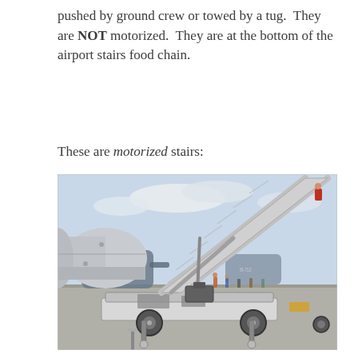pushed by ground crew or towed by a tug. They are NOT motorized. They are at the bottom of the airport stairs food chain.
These are motorized stairs:
[Figure (photo): A motorized airport stair truck parked next to a large aircraft. The stairway is extended diagonally upward to the right toward the aircraft door. The vehicle chassis is white with wheels and mechanical components visible underneath. People and additional aircraft are visible in the background on the tarmac.]